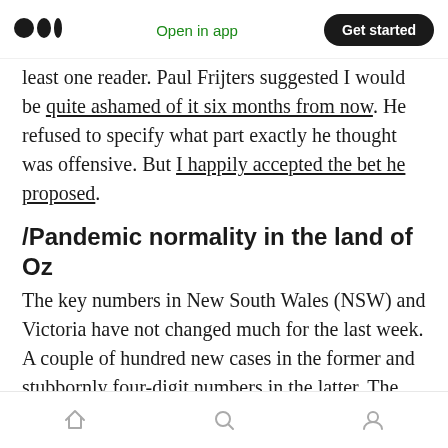Medium logo | Open in app | Get started
least one reader. Paul Frijters suggested I would be quite ashamed of it six months from now. He refused to specify what part exactly he thought was offensive. But I happily accepted the bet he proposed.
/Pandemic normality in the land of Oz
The key numbers in New South Wales (NSW) and Victoria have not changed much for the last week. A couple of hundred new cases in the former and stubbornly four-digit numbers in the latter. The latter is particularly surprising — the numbers move sideways at a much higher level
Home | Search | Profile